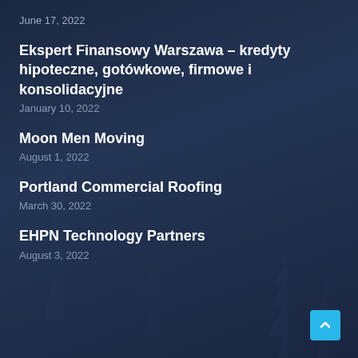June 17, 2022
Ekspert Finansowy Warszawa – kredyty hipoteczne, gotówkowe, firmowe i konsolidacyjne
January 10, 2022
Moon Men Moving
August 1, 2022
Portland Commercial Roofing
March 30, 2022
EHPN Technology Partners
August 3, 2022